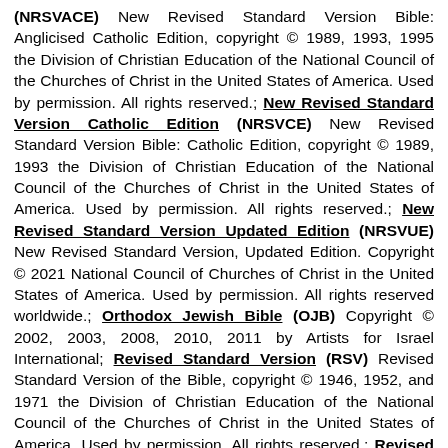(NRSVACE) New Revised Standard Version Bible: Anglicised Catholic Edition, copyright © 1989, 1993, 1995 the Division of Christian Education of the National Council of the Churches of Christ in the United States of America. Used by permission. All rights reserved.; New Revised Standard Version Catholic Edition (NRSVCE) New Revised Standard Version Bible: Catholic Edition, copyright © 1989, 1993 the Division of Christian Education of the National Council of the Churches of Christ in the United States of America. Used by permission. All rights reserved.; New Revised Standard Version Updated Edition (NRSVUE) New Revised Standard Version, Updated Edition. Copyright © 2021 National Council of Churches of Christ in the United States of America. Used by permission. All rights reserved worldwide.; Orthodox Jewish Bible (OJB) Copyright © 2002, 2003, 2008, 2010, 2011 by Artists for Israel International; Revised Standard Version (RSV) Revised Standard Version of the Bible, copyright © 1946, 1952, and 1971 the Division of Christian Education of the National Council of the Churches of Christ in the United States of America. Used by permission. All rights reserved.; Revised Standard Version Catholic Edition (RSVCE) The Revised Standard Version of the Bible: Catholic Edition, copyright © 1965, 1966 the